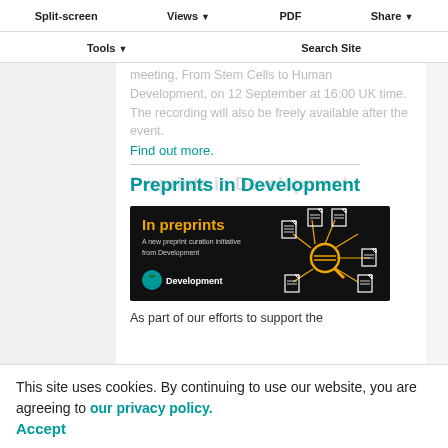Split-screen   Views ▾   PDF   Share ▾   Tools ▾   Search Site
meeting, From Stem Cells to Human Development, on 12 September at 16:00 UK time. The recording will also be freely available after the event.
Find out more.
Preprints in Development
[Figure (illustration): Black banner reading 'In preprints' in yellow/orange text, subtitle 'A new preprint curation initiative from Development', Development logo on left, and a magnifier icon connected to document icons on the right via yellow lines.]
As part of our efforts to support the use of preprints and help curate the preprint literature, we are delighted to launch a new article type: 'In preprints'. These pieces will discuss
This site uses cookies. By continuing to use our website, you are agreeing to our privacy policy. Accept